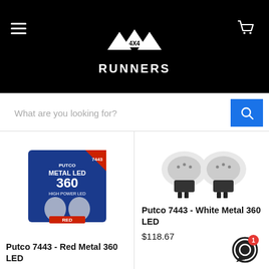4x4 Runners - navigation header with hamburger menu, logo, and cart icon
What are you looking for?
[Figure (photo): Product photo of Putco Metal LED 360 High Power LED box packaging for 7443 in blue and red]
Putco 7443 - Red Metal 360 LED
[Figure (photo): Product photo of two Putco 7443 White Metal 360 LED bulbs on white background]
Putco 7443 - White Metal 360 LED
$118.67